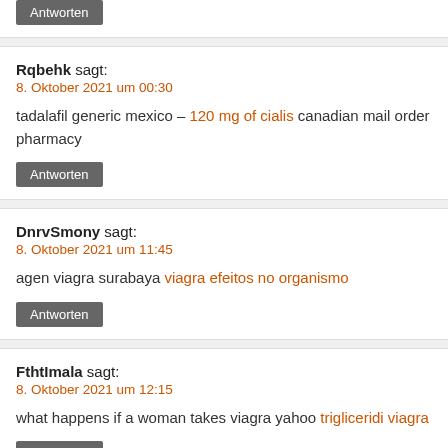... sildenafil for women buy generic viagra without a pre...
Antworten
Rqbehk sagt:
8. Oktober 2021 um 00:30
tadalafil generic mexico – 120 mg of cialis canadian mail order pharmacy
Antworten
DnrvSmony sagt:
8. Oktober 2021 um 11:45
agen viagra surabaya viagra efeitos no organismo
Antworten
FthtImala sagt:
8. Oktober 2021 um 12:15
what happens if a woman takes viagra yahoo trigliceridi viagra
Antworten
DnrvSmony sagt:
8. Oktober 2021 um 15:52